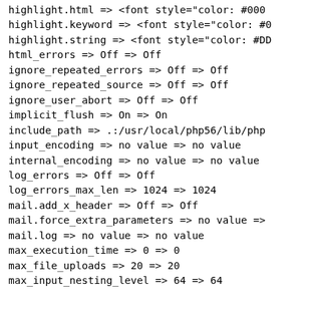highlight.html => <font style="color: #000...
highlight.keyword => <font style="color: #0...
highlight.string => <font style="color: #DD...
html_errors => Off => Off
ignore_repeated_errors => Off => Off
ignore_repeated_source => Off => Off
ignore_user_abort => Off => Off
implicit_flush => On => On
include_path => .:/usr/local/php56/lib/php ...
input_encoding => no value => no value
internal_encoding => no value => no value
log_errors => Off => Off
log_errors_max_len => 1024 => 1024
mail.add_x_header => Off => Off
mail.force_extra_parameters => no value =>
mail.log => no value => no value
max_execution_time => 0 => 0
max_file_uploads => 20 => 20
max_input_nesting_level => 64 => 64